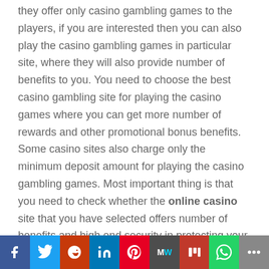they offer only casino gambling games to the players, if you are interested then you can also play the casino gambling games in particular site, where they will also provide number of benefits to you. You need to choose the best casino gambling site for playing the casino games where you can get more number of rewards and other promotional bonus benefits. Some casino sites also charge only the minimum deposit amount for playing the casino gambling games. Most important thing is that you need to check whether the online casino site that you have selected offers number of benefits and high end security in protecting your personal details.
Categories of online casino
[Figure (other): Social media share bar with icons: Facebook, Twitter, Reddit, LinkedIn, Pinterest, MeWe, Mix, WhatsApp, More]